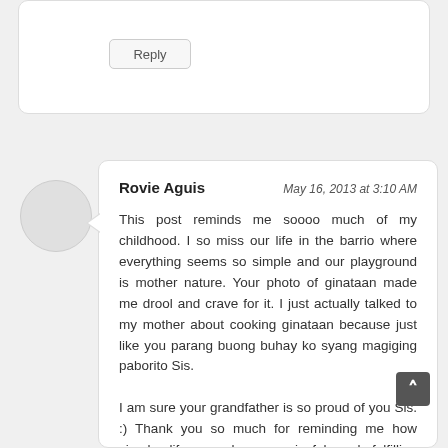[Figure (other): Reply button UI element in a comment card]
Rovie Aguis — May 16, 2013 at 3:10 AM

This post reminds me soooo much of my childhood. I so miss our life in the barrio where everything seems so simple and our playground is mother nature. Your photo of ginataan made me drool and crave for it. I just actually talked to my mother about cooking ginataan because just like you parang buong buhay ko syang magiging paborito Sis.

I am sure your grandfather is so proud of you Sis. :) Thank you so much for reminding me how simple life can be very joyful and fulfilling especially to a child. I wish Bella can still get to experience this too :)